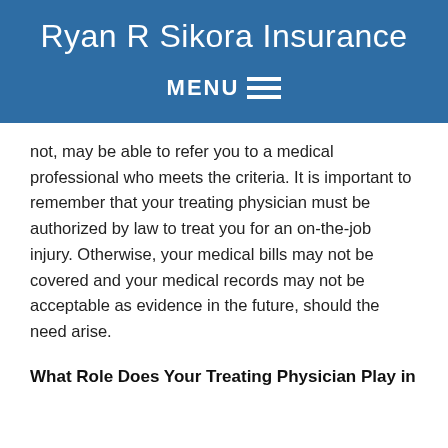Ryan R Sikora Insurance
MENU ☰
not, may be able to refer you to a medical professional who meets the criteria. It is important to remember that your treating physician must be authorized by law to treat you for an on-the-job injury. Otherwise, your medical bills may not be covered and your medical records may not be acceptable as evidence in the future, should the need arise.
What Role Does Your Treating Physician Play in